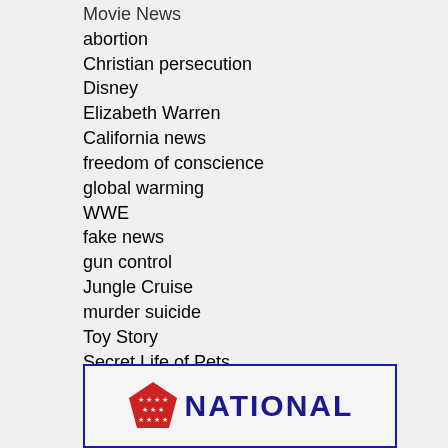Movie News
abortion
Christian persecution
Disney
Elizabeth Warren
California news
freedom of conscience
global warming
WWE
fake news
gun control
Jungle Cruise
murder suicide
Toy Story
Secret Life of Pets
Black Adam
Boko Haram
racism in America
US Senate
[Figure (logo): National logo with red shield/pentagon and stars, blue text reading NATIONAL]